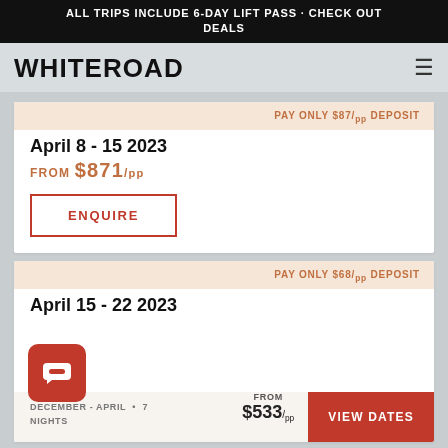ALL TRIPS INCLUDE 6-DAY LIFT PASS · CHECK OUT DEALS
WHITEROAD
PAY ONLY $87/pp DEPOSIT
April 8 - 15 2023
FROM $871/pp
ENQUIRE
PAY ONLY $68/pp DEPOSIT
April 15 - 22 2023
PAY ONLY $53/pp DEPOSIT
DECEMBER - APRIL  •  7
NIGHTS
FROM $533/pp
VIEW DATES